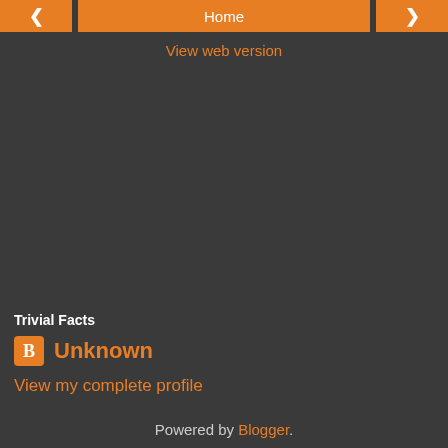< Home >
View web version
Trivial Facts
Unknown
View my complete profile
Powered by Blogger.